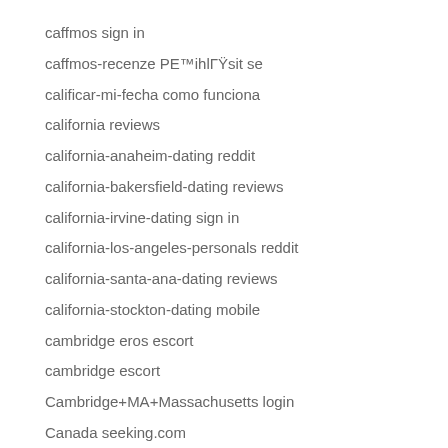caffmos sign in
caffmos-recenze PE™ihlГŸsit se
calificar-mi-fecha como funciona
california reviews
california-anaheim-dating reddit
california-bakersfield-dating reviews
california-irvine-dating sign in
california-los-angeles-personals reddit
california-santa-ana-dating reviews
california-stockton-dating mobile
cambridge eros escort
cambridge escort
Cambridge+MA+Massachusetts login
Canada seeking.com
canada-asexual-dating reviews